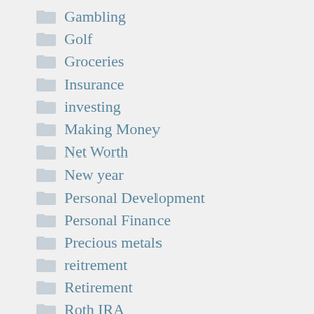Gambling
Golf
Groceries
Insurance
investing
Making Money
Net Worth
New year
Personal Development
Personal Finance
Precious metals
reitrement
Retirement
Roth IRA